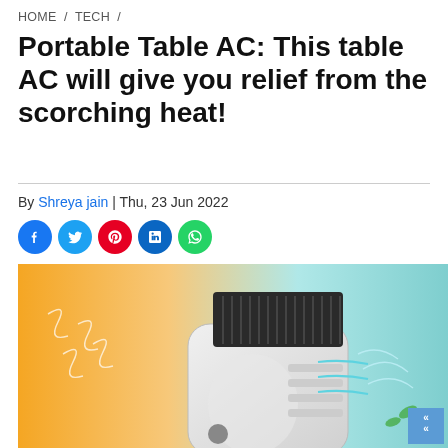HOME / TECH /
Portable Table AC: This table AC will give you relief from the scorching heat!
By Shreya jain | Thu, 23 Jun 2022
[Figure (other): Social sharing icons: Facebook, Twitter, Pinterest, LinkedIn, WhatsApp]
[Figure (photo): A portable table air cooler/AC unit shown against an orange and teal background with airflow graphics and green leaves]